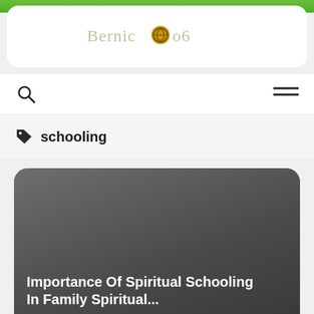BernicOo6
[Figure (logo): BernicOo6 website logo with a golden circular emblem replacing the letter 'o']
schooling
Importance Of Spiritual Schooling In Family Spiritual...